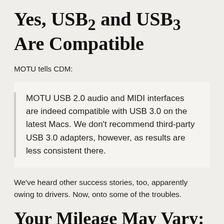Yes, USB2 and USB3 Are Compatible
MOTU tells CDM:
MOTU USB 2.0 audio and MIDI interfaces are indeed compatible with USB 3.0 on the latest Macs. We don't recommend third-party USB 3.0 adapters, however, as results are less consistent there.
We've heard other success stories, too, apparently owing to drivers. Now, onto some of the troubles.
Your Mileage May Vary: